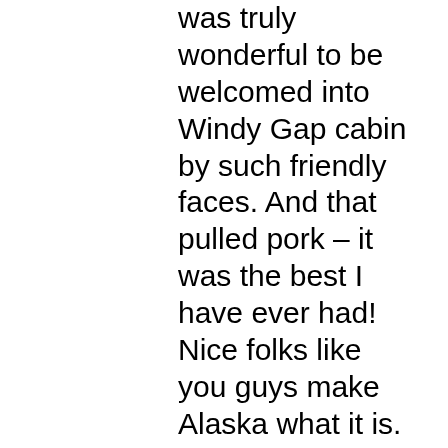was truly wonderful to be welcomed into Windy Gap cabin by such friendly faces. And that pulled pork – it was the best I have ever had! Nice folks like you guys make Alaska what it is. Thanks